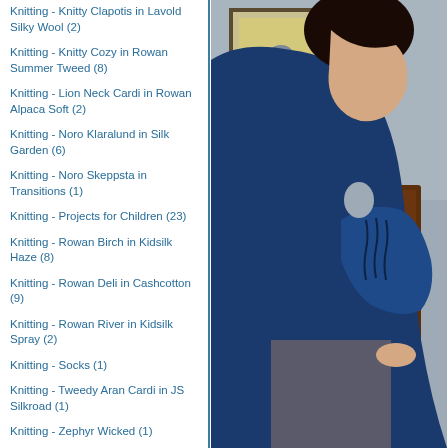Knitting - Knitty Clapotis in Lavold Silky Wool (2)
Knitting - Knitty Cozy in Rowan Summer Tweed (8)
Knitting - Lion Neck Cardi in Rowan Alpaca Soft (2)
Knitting - Noro Klaralund in Silk Garden (6)
Knitting - Noro Skeppsta in Transitions (1)
Knitting - Projects for Children (23)
Knitting - Rowan Birch in Kidsilk Haze (8)
Knitting - Rowan Deli in Cashcotton (9)
Knitting - Rowan River in Kidsilk Spray (2)
Knitting - Socks (1)
Knitting - Tweedy Aran Cardi in JS Silkroad (1)
Knitting - Zephyr Wicked (1)
Knitting Yarn/Patterns - Colinette (9)
[Figure (photo): Person wearing a navy blue knitted sweater/cardigan with cable detail on the sleeve, standing in front of a wooden dresser. A framed picture is visible on the wall behind.]